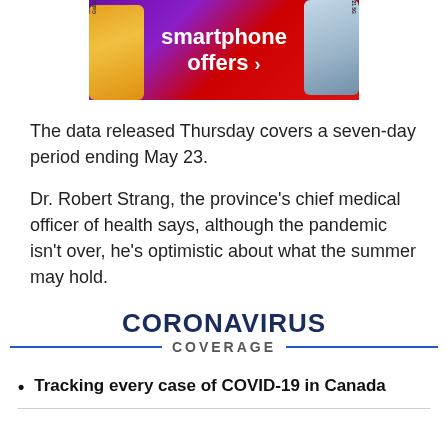[Figure (photo): Advertisement banner for smartphone offers showing Samsung Galaxy phones on a red and purple diagonal background with white text reading 'smartphone offers ▶']
The data released Thursday covers a seven-day period ending May 23.
Dr. Robert Strang, the province's chief medical officer of health says, although the pandemic isn't over, he's optimistic about what the summer may hold.
CORONAVIRUS COVERAGE
Tracking every case of COVID-19 in Canada